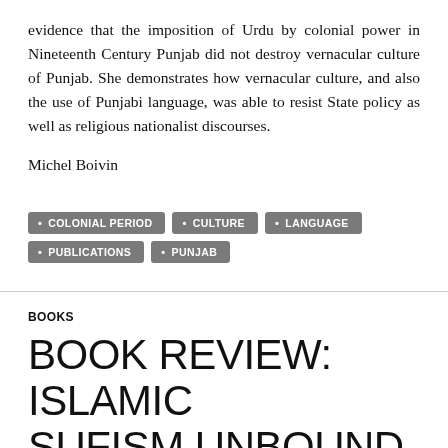evidence that the imposition of Urdu by colonial power in Nineteenth Century Punjab did not destroy vernacular culture of Punjab. She demonstrates how vernacular culture, and also the use of Punjabi language, was able to resist State policy as well as religious nationalist discourses.
Michel Boivin
COLONIAL PERIOD
CULTURE
LANGUAGE
PUBLICATIONS
PUNJAB
BOOKS
BOOK REVIEW: ISLAMIC SUFISM UNBOUND BY